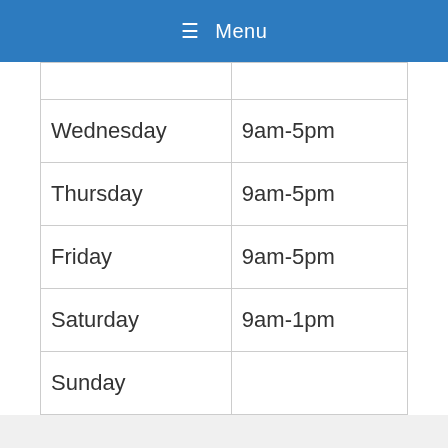≡ Menu
| Wednesday | 9am-5pm |
| Thursday | 9am-5pm |
| Friday | 9am-5pm |
| Saturday | 9am-1pm |
| Sunday |  |
8A King William Street
Call Us Now